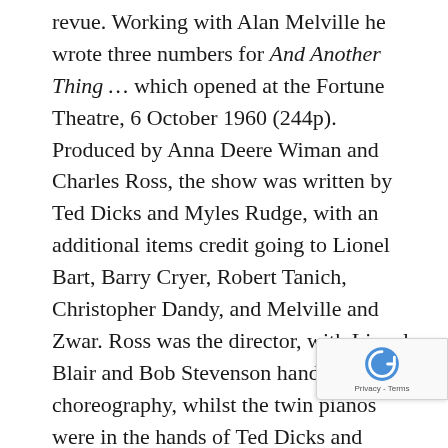revue. Working with Alan Melville he wrote three numbers for And Another Thing … which opened at the Fortune Theatre, 6 October 1960 (244p). Produced by Anna Deere Wiman and Charles Ross, the show was written by Ted Dicks and Myles Rudge, with an additional items credit going to Lionel Bart, Barry Cryer, Robert Tanich, Christopher Dandy, and Melville and Zwar. Ross was the director, with Lionel Blair and Bob Stevenson handled choreography, whilst the twin pianos were in the hands of Ted Dicks and Charles Mallett. According to the critics, And Another Thing … was an inferior successor to Look Who's Here! by Dicks and Ross. Bernard Cribbins and Anna Quayle headed the cast who also included Joyce and Lionel Blair, Donald Hewlett, Dennis Wood, and Anton Rodgers. The Times said 'this is a traditional B revue, in the time-honoured manner, on the ti honoured themes.' Subject satirized included